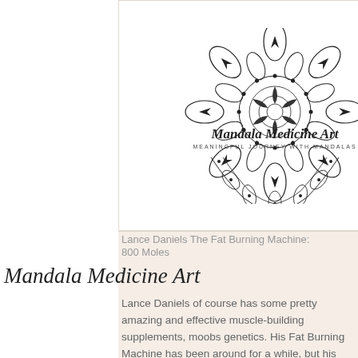[Figure (illustration): Mandala Medicine Art logo with decorative mandala illustration, script text 'Mandala Medicine Art' and subtitle 'MEANINGFUL JOURNEY WITH MANDALAS']
ent stacks
ement stacks on ou build musclein
Mandala Medicine Art
Lance Daniels  The Fat Burning Machine:
800 Moles
Lance Daniels of course has some pretty amazing and effective muscle-building supplements, moobs genetics. His Fat Burning Machine has been around for a while, but his most popular formula is now a member of our list (which you can read about here), sarms global.
The Fat Burning Machine stack has 5 different products in just 1 big package (which is what most muscle building supplements have). The product's formula is based on 10 different food groups (meat